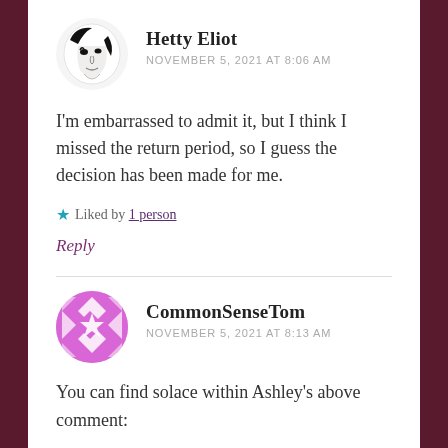[Figure (illustration): Circular avatar with black-and-white illustrated face (Hetty Eliot profile image)]
Hetty Eliot
NOVEMBER 5, 2021 AT 8:06 AM
I'm embarrassed to admit it, but I think I missed the return period, so I guess the decision has been made for me.
★ Liked by 1 person
Reply
[Figure (illustration): Circular avatar with purple/pink geometric diamond pattern (CommonSenseTom profile image)]
CommonSenseTom
NOVEMBER 5, 2021 AT 8:13 AM
You can find solace within Ashley's above comment: